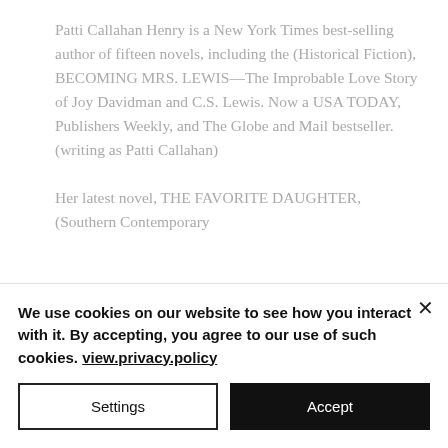Patti Callahan Henry is a New York Times best-selling author of fifteen novels, including the (Historical Fiction), BECOMING MRS. LEWIS—The Improbable Love Story of Joy Davidman and C.S. Lewis. Now a USA TODAY, Publishers Weekly, and The Globe and Mail bestseller.  (writing as Patti Callahan)

Her latest novel, THE FAVORITE DAUGHTER, (Southern Contemporary
We use cookies on our website to see how you interact with it. By accepting, you agree to our use of such cookies. view.privacy.policy